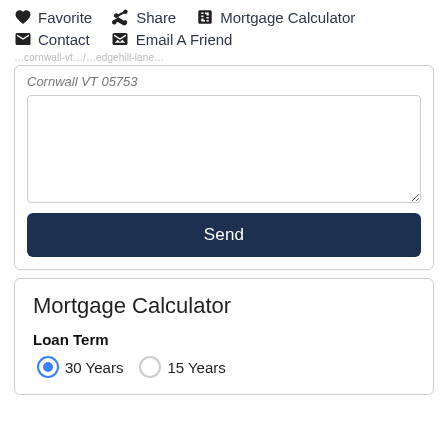Favorite  Share  Mortgage Calculator  Contact  Email A Friend
Cornwall VT 05753
Send
Mortgage Calculator
Loan Term
30 Years
15 Years